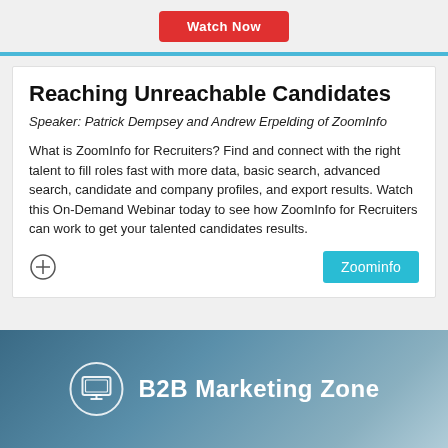[Figure (other): Red 'Watch Now' button at top of page]
Reaching Unreachable Candidates
Speaker: Patrick Dempsey and Andrew Erpelding of ZoomInfo
What is ZoomInfo for Recruiters? Find and connect with the right talent to fill roles fast with more data, basic search, advanced search, candidate and company profiles, and export results. Watch this On-Demand Webinar today to see how ZoomInfo for Recruiters can work to get your talented candidates results.
[Figure (logo): Zoominfo button (cyan/teal) and plus circle icon]
[Figure (other): B2B Marketing Zone banner with monitor icon on dark blue background]